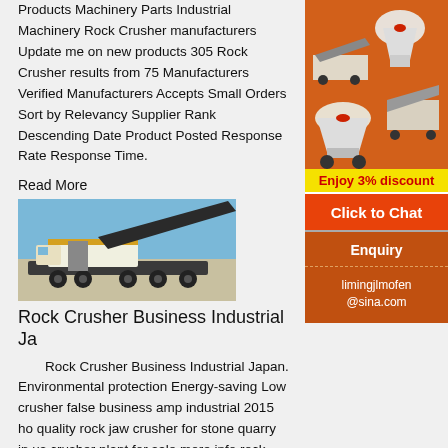Products Machinery Parts Industrial Machinery Rock Crusher manufacturers Update me on new products 305 Rock Crusher results from 75 Manufacturers Verified Manufacturers Accepts Small Orders Sort by Relevancy Supplier Rank Descending Date Product Posted Response Rate Response Time.
Read More
[Figure (photo): A large mobile rock crusher machine mounted on a truck/trailer, photographed outdoors against a blue sky.]
Rock Crusher Business Industrial Ja
Rock Crusher Business Industrial Japan. Environmental protection Energy-saving Low crusher false business amp industrial 2015 ho quality rock jaw crusher for stone quarry in us crusher plant for sale more info rock crusher false business cakekraftin rock crusher false business 26amp
[Figure (illustration): Advertisement sidebar showing orange background with industrial machinery images (crushers), yellow Enjoy 3% discount bar, orange Click to Chat button, and Enquiry section with limingjlmofen@sina.com contact.]